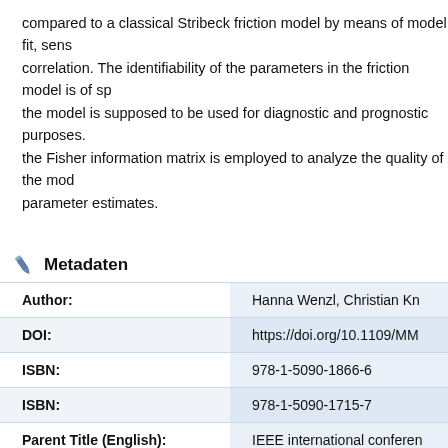compared to a classical Stribeck friction model by means of model fit, sens correlation. The identifiability of the parameters in the friction model is of sp the model is supposed to be used for diagnostic and prognostic purposes. the Fisher information matrix is employed to analyze the quality of the mod parameter estimates.
Metadaten
| Field | Value |
| --- | --- |
| Author: | Hanna Wenzl, Christian Kn... |
| DOI: | https://doi.org/10.1109/MM... |
| ISBN: | 978-1-5090-1866-6 |
| ISBN: | 978-1-5090-1715-7 |
| Parent Title (English): | IEEE international conferen... |
| Document Type: | Conference Proceeding |
| Language: | English |
| Year of Publication: | 2016 |
| Release Date: | 2018/11/19 |
| Tag: | Parameter estimation; Elec... |